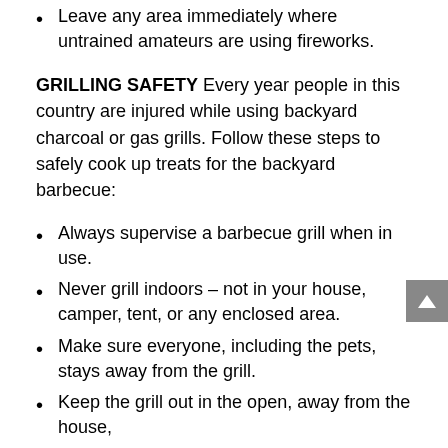Leave any area immediately where untrained amateurs are using fireworks.
GRILLING SAFETY Every year people in this country are injured while using backyard charcoal or gas grills. Follow these steps to safely cook up treats for the backyard barbecue:
Always supervise a barbecue grill when in use.
Never grill indoors – not in your house, camper, tent, or any enclosed area.
Make sure everyone, including the pets, stays away from the grill.
Keep the grill out in the open, away from the house,